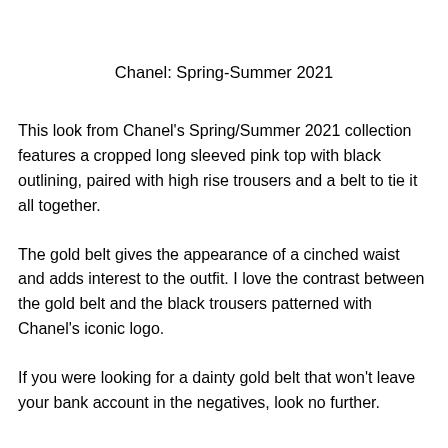Chanel: Spring-Summer 2021
This look from Chanel's Spring/Summer 2021 collection features a cropped long sleeved pink top with black outlining, paired with high rise trousers and a belt to tie it all together.
The gold belt gives the appearance of a cinched waist and adds interest to the outfit. I love the contrast between the gold belt and the black trousers patterned with Chanel's iconic logo.
If you were looking for a dainty gold belt that won't leave your bank account in the negatives, look no further.